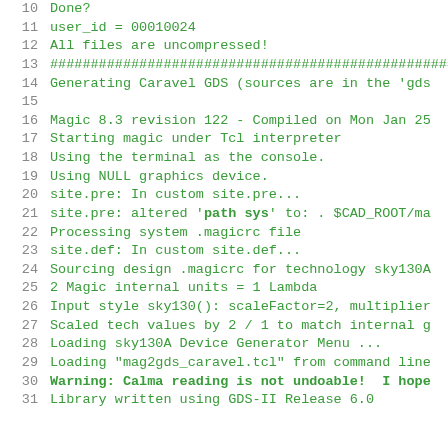10  Done?
11  user_id = 00010024
12  All files are uncompressed!
13  ##################################################
14  Generating Caravel GDS (sources are in the 'gds
15  
16  Magic 8.3 revision 122 - Compiled on Mon Jan 25
17  Starting magic under Tcl interpreter
18  Using the terminal as the console.
19  Using NULL graphics device.
20  site.pre: In custom site.pre...
21  site.pre: altered 'path sys' to: . $CAD_ROOT/ma
22  Processing system .magicrc file
23  site.def: In custom site.def...
24  Sourcing design .magicrc for technology sky130A
25  2 Magic internal units = 1 Lambda
26  Input style sky130(): scaleFactor=2, multiplier
27  Scaled tech values by 2 / 1 to match internal g
28  Loading sky130A Device Generator Menu ...
29  Loading "mag2gds_caravel.tcl" from command line
30  Warning: Calma reading is not undoable! I hope
31  Library written using GDS-II Release 6.0